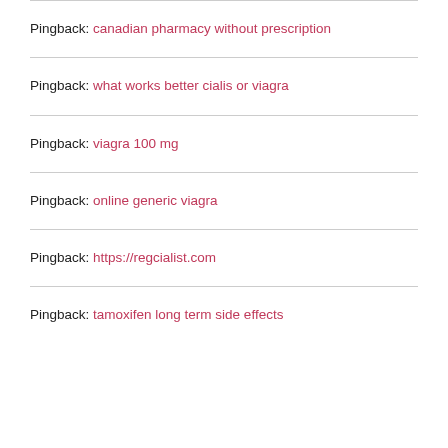Pingback: canadian pharmacy without prescription
Pingback: what works better cialis or viagra
Pingback: viagra 100 mg
Pingback: online generic viagra
Pingback: https://regcialist.com
Pingback: tamoxifen long term side effects